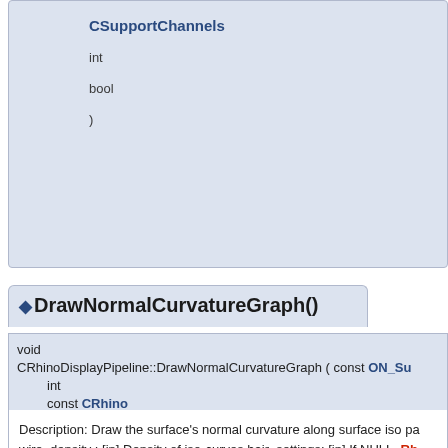CSupportChannels
int
bool
)
◆ DrawNormalCurvatureGraph()
void
CRhinoDisplayPipeline::DrawNormalCurvatureGraph ( const ON_Su
int
const CRhino
)
Description: Draw the surface's normal curvature along surface iso pa wire_density : [in] Density of iso-curves hair_settings: [in] If NULL, Rh are used.